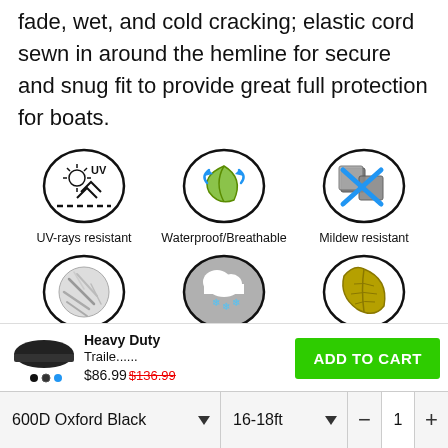fade, wet, and cold cracking; elastic cord sewn in around the hemline for secure and snug fit to provide great full protection for boats.
[Figure (infographic): Six circular icons showing product features: UV-rays resistant, Waterproof/Breathable, Mildew resistant, Dust Protection, Snow Protection, Fallen Leaves Protection]
Heavy Duty Traile..... $86.99 $136.99 ADD TO CART
600D Oxford Black ▼   16-18ft ▼   - 1 +